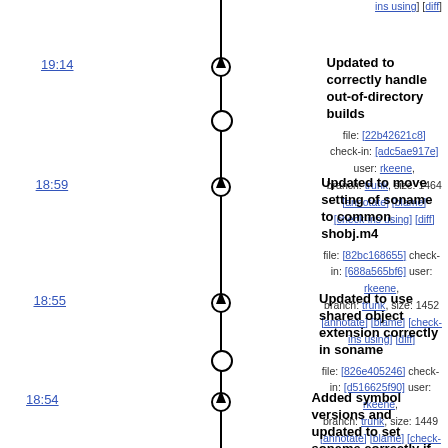ins using] [diff]
19:14 — Updated to correctly handle out-of-directory builds
file: [22b42621c8] check-in: [adc5ae917e] user: rkeene, branch: trunk, size: 1464 [annotate] [blame] [check-ins using] [diff]
18:59 — Updated to move setting of soname to common shobj.m4
file: [82bc168655] check-in: [688a565bf6] user: rkeene, branch: trunk, size: 1452 [annotate] [blame] [check-ins using] [diff]
18:55 — Updated to use shared object extension correctly in soname
file: [826e405246] check-in: [d516625f90] user: rkeene, branch: trunk, size: 1449 [annotate] [blame] [check-ins using] [diff]
18:54 — Added symbol versions and updated to set soname correctly if possible
file: [23d52dd695] check-in: [3a41ad49f2] user: rkeene, branch: trunk, size: 1442 [annotate] [blame] [check-ins using] [diff]